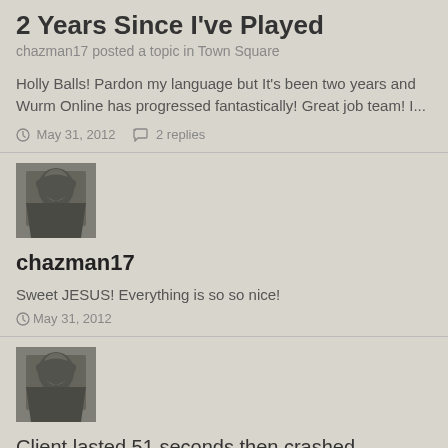2 Years Since I've Played
chazman17 posted a topic in Town Square
Holly Balls! Pardon my language but It's been two years and Wurm Online has progressed fantastically! Great job team! I...
May 31, 2012   2 replies
[Figure (photo): Avatar image of chazman17 showing a hooded/dark figure]
chazman17
Sweet JESUS! Everything is so so nice!
May 31, 2012
[Figure (photo): Avatar image of chazman17 showing a hooded/dark figure]
Client lasted 51 seconds then crashed...
chazman17 replied to chazman17's topic in Technical